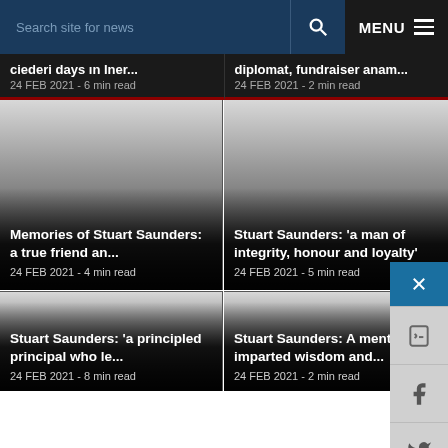Search site for news | MENU
24 FEB 2021 - 6 min read
24 FEB 2021 - 2 min read
Memories of Stuart Saunders: a true friend an...
24 FEB 2021 - 4 min read
Stuart Saunders: 'a man of integrity, honour and loyalty'
24 FEB 2021 - 5 min read
Stuart Saunders: 'a principled principal who le...
24 FEB 2021 - 8 min read
Stuart Saunders: A mentor who imparted wisdom and...
24 FEB 2021 - 2 min read